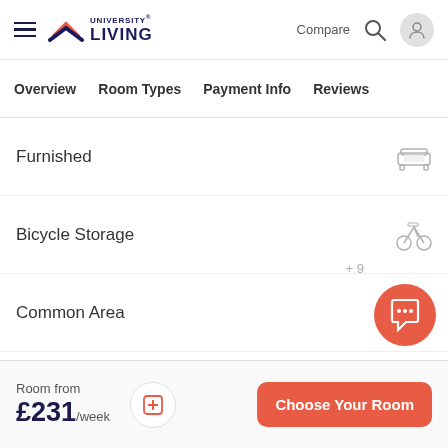University Living — Compare, Search, User
Overview | Room Types | Payment Info | Reviews
Furnished
Bicycle Storage
Common Area
Study Room
Room from £231/week  Choose Your Room